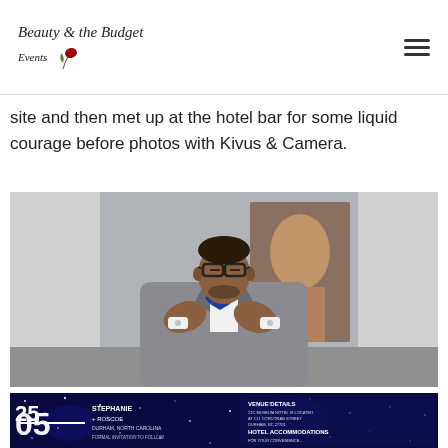Beauty & the Budget Events
site and then met up at the hotel bar for some liquid courage before photos with Kivus & Camera.
[Figure (photo): Groom in grey suit adjusting blue bow tie, wearing glasses, with artwork in background]
[Figure (photo): Wedding save-the-date/invitation card showing '05/25/19 Stephanie + Roscoe Durham, North Carolina Formal Invitation to Follow' with galaxy/stars background, alongside a details card showing venue and hotel accommodations information]